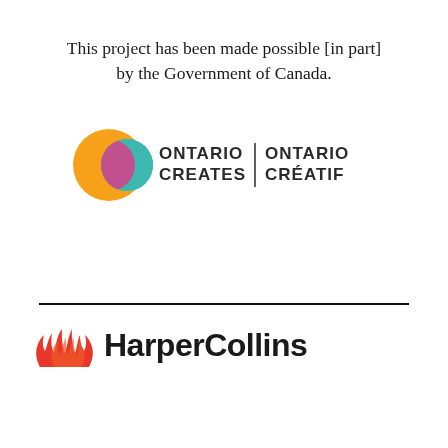This project has been made possible [in part] by the Government of Canada.
[Figure (logo): Ontario Creates / Ontario Créatif bilingual logo with colorful overlapping circles icon]
[Figure (logo): HarperCollins publisher logo with red flame/mountain icon and bold text]